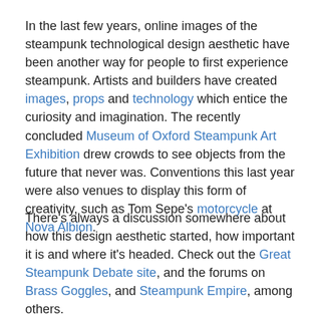In the last few years, online images of the steampunk technological design aesthetic have been another way for people to first experience steampunk. Artists and builders have created images, props and technology which entice the curiosity and imagination. The recently concluded Museum of Oxford Steampunk Art Exhibition drew crowds to see objects from the future that never was. Conventions this last year were also venues to display this form of creativity, such as Tom Sepe's motorcycle at Nova Albion.
There's always a discussion somewhere about how this design aesthetic started, how important it is and where it's headed. Check out the Great Steampunk Debate site, and the forums on Brass Goggles, and Steampunk Empire, among others.